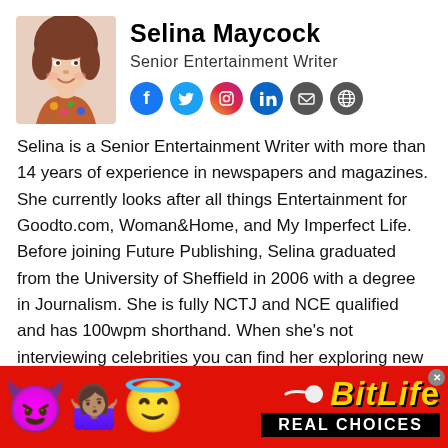[Figure (photo): Portrait photo of Selina Maycock, a woman with brown hair, smiling, wearing a floral top]
Selina Maycock
Senior Entertainment Writer
[Figure (infographic): Social media icons: Facebook, Twitter, Instagram, LinkedIn, Email, Website/Globe]
Selina is a Senior Entertainment Writer with more than 14 years of experience in newspapers and magazines. She currently looks after all things Entertainment for Goodto.com, Woman&Home, and My Imperfect Life. Before joining Future Publishing, Selina graduated from the University of Sheffield in 2006 with a degree in Journalism. She is fully NCTJ and NCE qualified and has 100wpm shorthand. When she's not interviewing celebrities you can find her exploring new countryside walking routes, catching up with friends over good food, or making memories.
[Figure (infographic): BitLife advertisement banner with emoji characters (devil, woman shrugging, angel face, DNA/sperm icon) and text REAL CHOICES on black background]